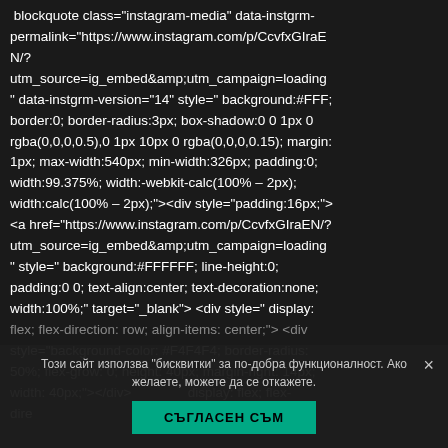blockquote class="instagram-media" data-instgrm-permalink="https://www.instagram.com/p/CcvfxGIraEN/?utm_source=ig_embed&amp;utm_campaign=loading" data-instgrm-version="14" style=" background:#FFF; border:0; border-radius:3px; box-shadow:0 0 1px 0 rgba(0,0,0,0.5),0 1px 10px 0 rgba(0,0,0,0.15); margin:1px; max-width:540px; min-width:326px; padding:0; width:99.375%; width:-webkit-calc(100% – 2px); width:calc(100% – 2px);"><div style="padding:16px;"> <a href="https://www.instagram.com/p/CcvfxGIraEN/?utm_source=ig_embed&amp;utm_campaign=loading" style=" background:#FFFFFF; line-height:0; padding:0 0; text-align:center; text-decoration:none; width:100%;" target="_blank"> <div style=" display: flex; flex-direction: row; align-items: center;"> <div style="background-color: #F4F4F4; border-radius: 50%; flex-grow: 0; height: 40px; margin-right: 14px; width: 40px;"></div> <div style="display: flex; flex- direction:...
Този сайт използва "бисквитки" за по-добра функционалност. Ако желаете, можете да се откажете.
СЪГЛАСЕН СЪМ